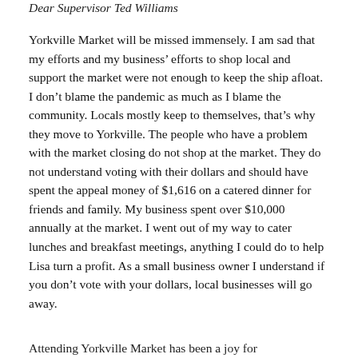Dear Supervisor Ted Williams
Yorkville Market will be missed immensely. I am sad that my efforts and my business’ efforts to shop local and support the market were not enough to keep the ship afloat. I don’t blame the pandemic as much as I blame the community. Locals mostly keep to themselves, that’s why they move to Yorkville. The people who have a problem with the market closing do not shop at the market. They do not understand voting with their dollars and should have spent the appeal money of $1,616 on a catered dinner for friends and family. My business spent over $10,000 annually at the market. I went out of my way to cater lunches and breakfast meetings, anything I could do to help Lisa turn a profit. As a small business owner I understand if you don’t vote with your dollars, local businesses will go away.
Attending Yorkville Market has been a joy for...